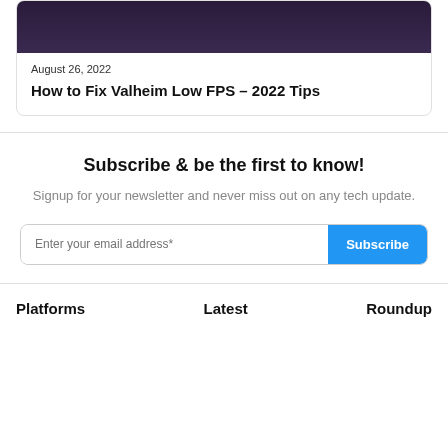[Figure (photo): Dark purple/black screenshot image from Valheim game at top of card]
August 26, 2022
How to Fix Valheim Low FPS – 2022 Tips
Subscribe & be the first to know!
Signup for your newsletter and never miss out on any tech update.
Enter your email address*
Platforms
Latest
Roundup